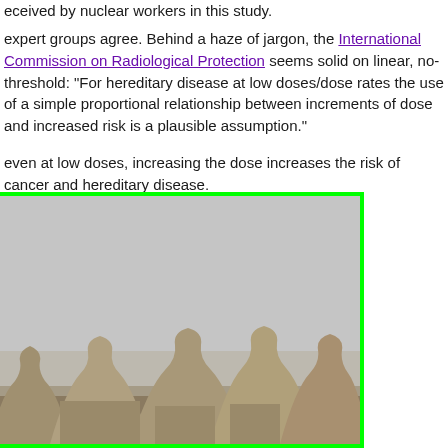eceived by nuclear workers in this study.
expert groups agree. Behind a haze of jargon, the International Commission on Radiological Protection seems solid on linear, no-threshold: "For hereditary disease at low doses/dose rates the use of a simple proportional relationship between increments of dose and increased risk is a plausible assumption."
even at low doses, increasing the dose increases the risk of cancer and hereditary disease.
[Figure (photo): Aerial photograph of nuclear power plant cooling towers, showing several large hyperbolic cooling towers against a hazy sky, with industrial buildings and flat landscape visible below. Image is bordered with a bright green rectangle outline.]